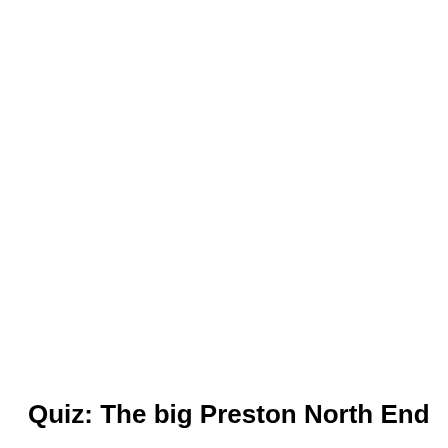Quiz: The big Preston North End